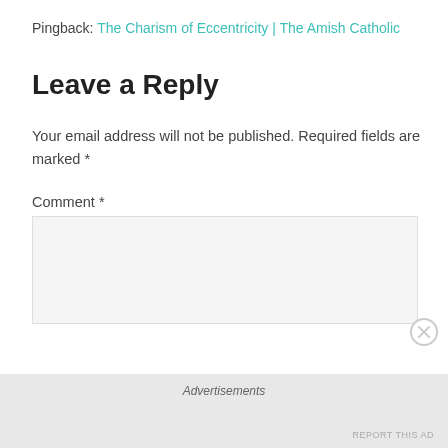Pingback: The Charism of Eccentricity | The Amish Catholic
Leave a Reply
Your email address will not be published. Required fields are marked *
Comment *
Advertisements